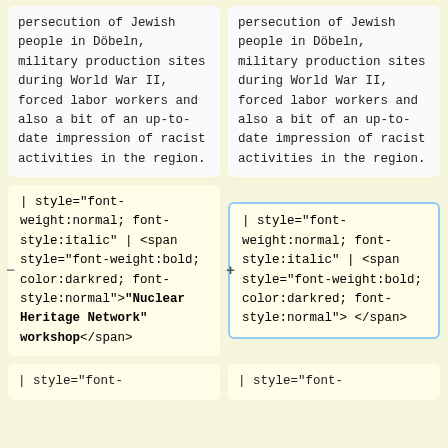persecution of Jewish people in Döbeln, military production sites during World War II, forced labor workers and also a bit of an up-to-date impression of racist activities in the region.
persecution of Jewish people in Döbeln, military production sites during World War II, forced labor workers and also a bit of an up-to-date impression of racist activities in the region.
| style="font-weight:normal; font-style:italic" | <span style="font-weight:bold; color:darkred; font-style:normal">"Nuclear Heritage Network" workshop</span>
| style="font-weight:normal; font-style:italic" | <span style="font-weight:bold; color:darkred; font-style:normal"> </span>
| style="font-
| style="font-